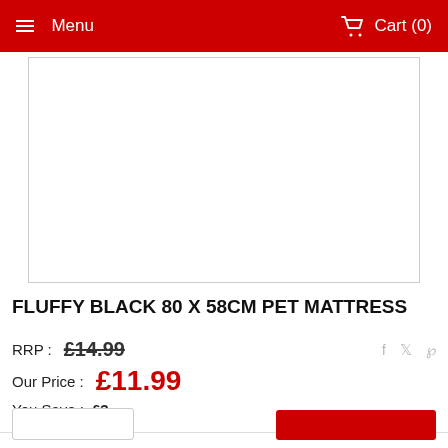Menu  Cart (0)
[Figure (photo): Product image area — white rectangle with border for product photo of fluffy black pet mattress]
FLUFFY BLACK 80 X 58CM PET MATTRESS
RRP : £14.99
Our Price : £11.99
You Save : £3